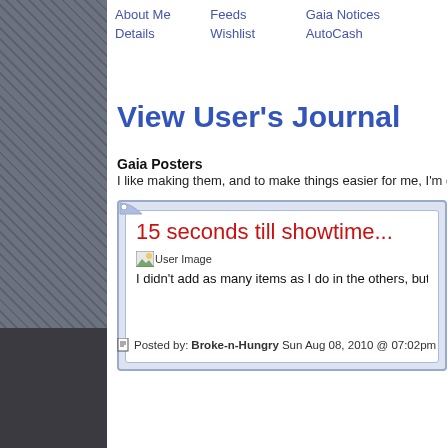About Me  Feeds  Gaia Notices
Details  Wishlist  AutoCash
View User's Journal
Gaia Posters
I like making them, and to make things easier for me, I'm gonna add my ga
15 seconds till showtime...
[Figure (other): User Image placeholder icon]
I didn't add as many items as I do in the others, but I think i
Posted by: Broke-n-Hungry Sun Aug 08, 2010 @ 07:02pm